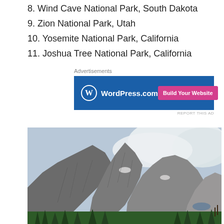8. Wind Cave National Park, South Dakota
9. Zion National Park, Utah
10. Yosemite National Park, California
11. Joshua Tree National Park, California
Advertisements
[Figure (screenshot): WordPress.com advertisement banner with blue background, WordPress logo, text 'WordPress.com', and a pink 'Build Your Website' button on the right.]
[Figure (photo): Mountain landscape photograph showing rocky peaks with snow patches, clouds in the background, and green forest trees at the bottom.]